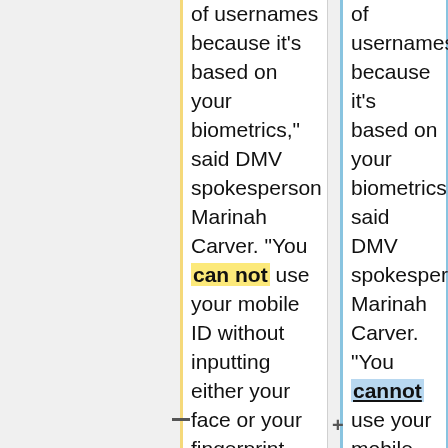of usernames because it's based on your biometrics," said DMV spokesperson Marinah Carver. "You can not use your mobile ID without inputting either your face or your fingerprint. "We're not sharing that data with anyone else, and it can't be accessed through a third party."  In addition to safety, Carver said a
of usernames because it's based on your biometrics," said DMV spokesperson Marinah Carver. "You cannot use your mobile ID without inputting either your face or your fingerprint. "We're not sharing that data with anyone else, and it can't be accessed through a third party."  In addition to safety, Carver said a